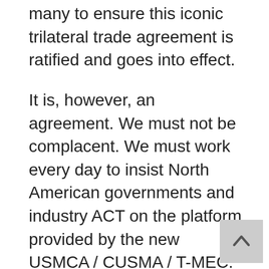many to ensure this iconic trilateral trade agreement is ratified and goes into effect.
It is, however, an agreement. We must not be complacent. We must work every day to insist North American governments and industry ACT on the platform provided by the new USMCA / CUSMA / T-MEC. We must continue to develop the relationships, trust, respect, shared ideas and opportunities to ensure our North American continent is the most competitive trading block on earth – and the benefits and prosperity are understood and realized by every North American.
NASCO has always been hard at work moving North America forward, and we are more committed than ever to our objectives and partnerships. We look forward to doing our part to